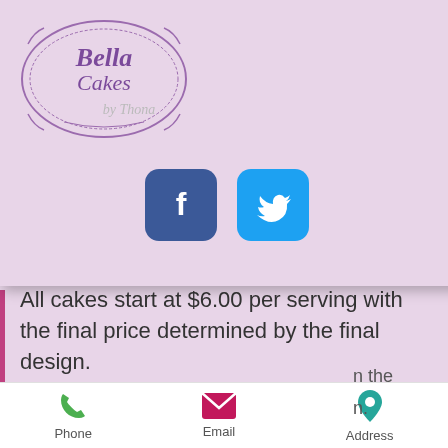[Figure (screenshot): Bella Cakes by Thona logo - purple ornate design with script text]
[Figure (screenshot): Dark hamburger menu button (three horizontal lines on dark background)]
[Figure (screenshot): Facebook icon (blue rounded square with white F) and Twitter icon (cyan rounded square with white bird)]
All cakes start at $6.00 per serving with the final price determined by the final design.
For carved or special structure cakes, pricing starts at $150.00 and will go up from there depending on the final design.
Phone   Email   Address